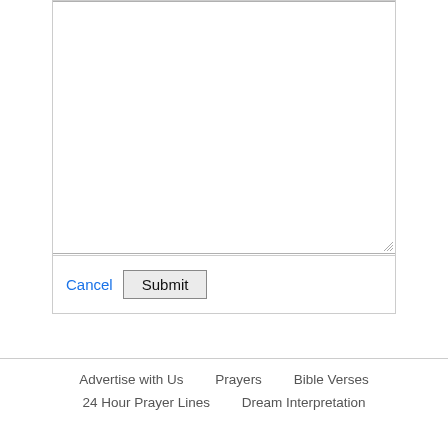[Figure (screenshot): A web form textarea input box, empty, with a resize handle in the bottom-right corner. Below the textarea are two form controls: a blue 'Cancel' link and a 'Submit' button with a rectangular border.]
Advertise with Us   Prayers   Bible Verses   24 Hour Prayer Lines   Dream Interpretation